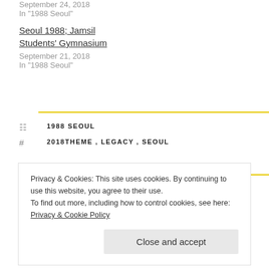September 24, 2018
In "1988 Seoul"
Seoul 1988; Jamsil Students' Gymnasium
September 21, 2018
In "1988 Seoul"
1988 SEOUL
2018THEME , LEGACY , SEOUL
Privacy & Cookies: This site uses cookies. By continuing to use this website, you agree to their use.
To find out more, including how to control cookies, see here: Privacy & Cookie Policy